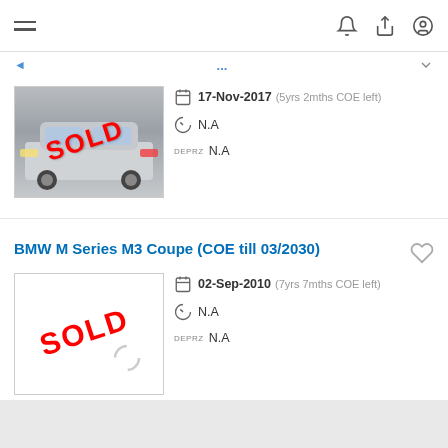Navigation bar with hamburger menu and icons (bell, share, user)
[Figure (photo): Car listing photo showing a Toyota Corolla with SOLD overlay stamp]
17-Nov-2017 (5yrs 2mths COE left)
N.A
N.A
BMW M Series M3 Coupe (COE till 03/2030)
[Figure (photo): Car listing image with SOLD overlay stamp on white background]
02-Sep-2010 (7yrs 7mths COE left)
N.A
N.A
Bottom navigation bar